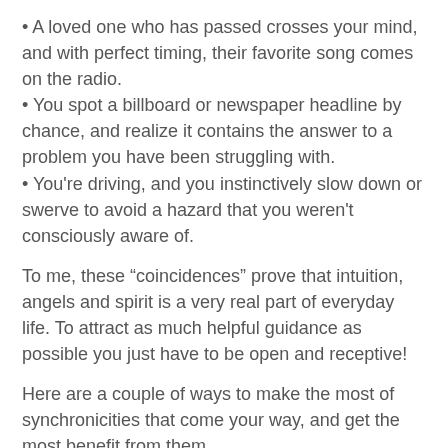• A loved one who has passed crosses your mind, and with perfect timing, their favorite song comes on the radio.
• You spot a billboard or newspaper headline by chance, and realize it contains the answer to a problem you have been struggling with.
• You're driving, and you instinctively slow down or swerve to avoid a hazard that you weren't consciously aware of.
To me, these “coincidences” prove that intuition, angels and spirit is a very real part of everyday life. To attract as much helpful guidance as possible you just have to be open and receptive!
Here are a couple of ways to make the most of synchronicities that come your way, and get the most benefit from them.
Look for the message hidden in unusual events.